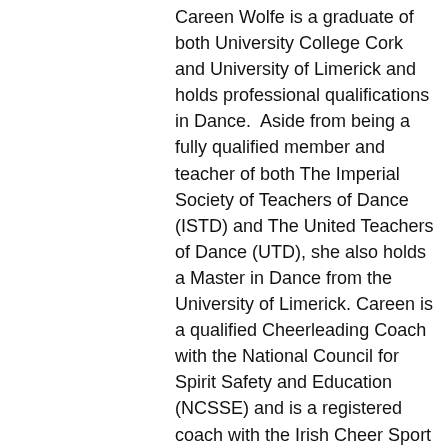Careen Wolfe is a graduate of both University College Cork and University of Limerick and holds professional qualifications in Dance.  Aside from being a fully qualified member and teacher of both The Imperial Society of Teachers of Dance (ISTD) and The United Teachers of Dance (UTD), she also holds a Master in Dance from the University of Limerick. Careen is a qualified Cheerleading Coach with the National Council for Spirit Safety and Education (NCSSE) and is a registered coach with the Irish Cheer Sport Association (ICSA)
Our dance programme offers boys and girls from the age of 3 ½ years to young adults the opportunity to study a combination of Modern Theatre Jazz and Musical Theatre. Students enrolled in the Modern Classes may also take Ballet Classes with us. All are classes are age